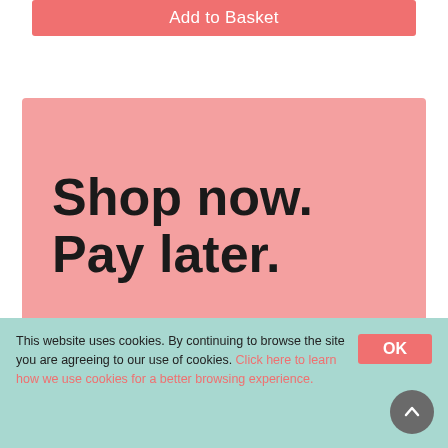Add to Basket
[Figure (illustration): Pink promotional banner with large bold text reading 'Shop now. Pay later.']
This website uses cookies. By continuing to browse the site you are agreeing to our use of cookies. Click here to learn how we use cookies for a better browsing experience.
OK